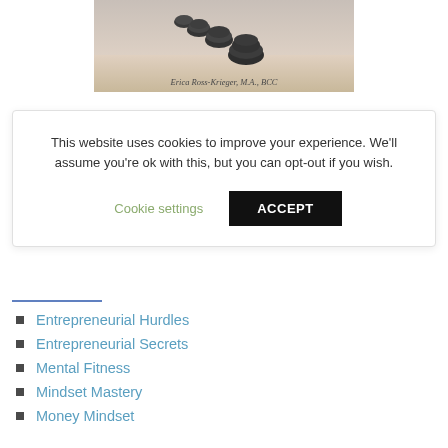[Figure (photo): Book cover image showing dark stepping stones on a sandy beach background, with author name 'Erica Ross-Krieger, M.A., BCC' at the bottom]
This website uses cookies to improve your experience. We'll assume you're ok with this, but you can opt-out if you wish.
Cookie settings  ACCEPT
Entrepreneurial Hurdles
Entrepreneurial Secrets
Mental Fitness
Mindset Mastery
Money Mindset